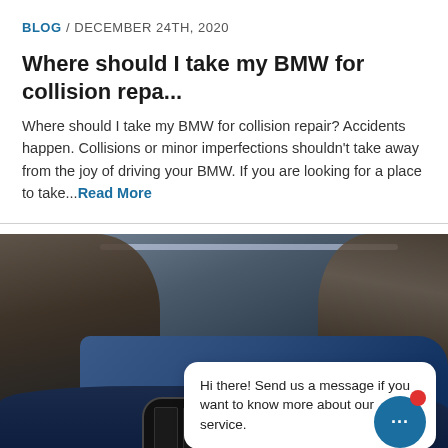BLOG / DECEMBER 24TH, 2020
Where should I take my BMW for collision repa...
Where should I take my BMW for collision repair? Accidents happen. Collisions or minor imperfections shouldn't take away from the joy of driving your BMW. If you are looking for a place to take...Read More
[Figure (photo): Two technicians working on a BMW vehicle in a service garage, one examining under the hood and one working on the front grille area. A chat bubble overlay reads: Hi there! Send us a message if you want to know more about our service. A blue chat button with notification badge is visible in the bottom right corner.]